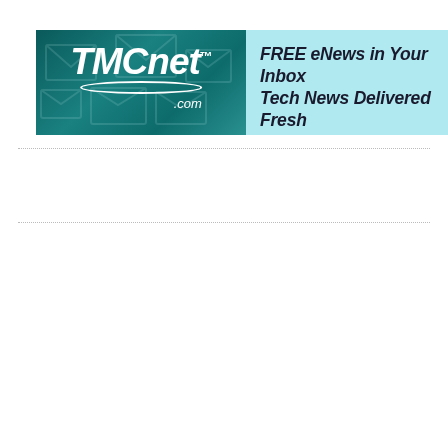[Figure (logo): TMCnet.com banner advertisement. Left side: dark teal/green background with envelope icons and TMCnet.com logo in white italic bold text with oval underline. Right side: light blue/cyan background with text 'FREE eNews in Your Inbox Tech News Delivered Fresh' in bold italic, and bullet points 'IoT • Communications • Contact']